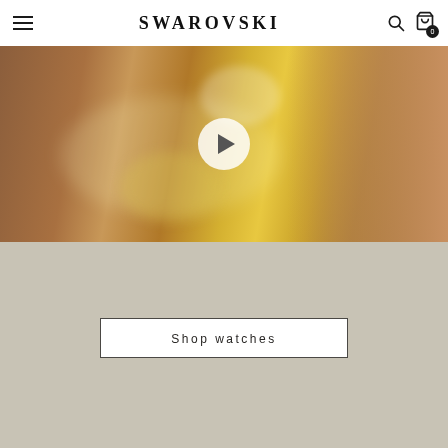SWAROVSKI
[Figure (photo): Close-up of a gold and crystal Swarovski bracelet on a wrist, with a video play button overlay. Golden jewellery with crystals against warm skin tones and a yellow-green background.]
Shop watches